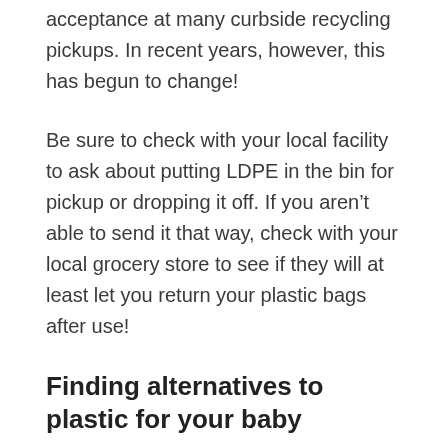acceptance at many curbside recycling pickups. In recent years, however, this has begun to change!
Be sure to check with your local facility to ask about putting LDPE in the bin for pickup or dropping it off. If you aren't able to send it that way, check with your local grocery store to see if they will at least let you return your plastic bags after use!
Finding alternatives to plastic for your baby
While it's generally safe to use LDPE for a wide range of applications, there are still many downsides to using plastic other than immediate